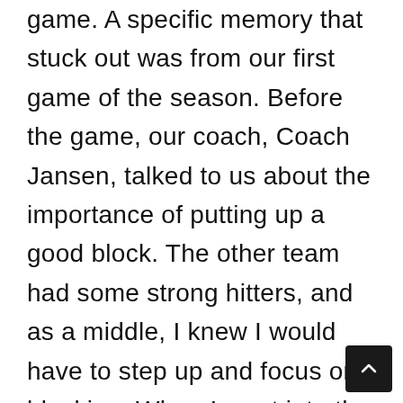game. A specific memory that stuck out was from our first game of the season. Before the game, our coach, Coach Jansen, talked to us about the importance of putting up a good block. The other team had some strong hitters, and as a middle, I knew I would have to step up and focus on blocking. When I went into the game, I was so nervous that could feel my heart beating out of my chest. I was able to get my first block and my team went crazy. Their support and cheering made all my nerves turn into excitement and I was able to get two